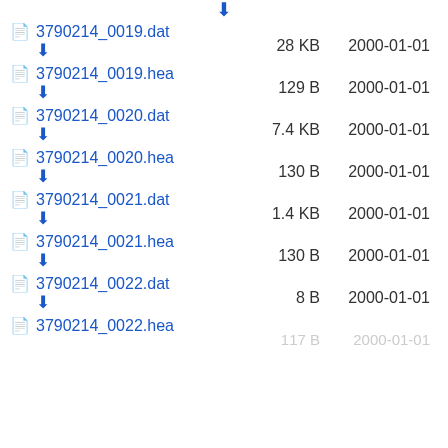3790214_0019.dat | 28 KB | 2000-01-01
3790214_0019.hea | 129 B | 2000-01-01
3790214_0020.dat | 7.4 KB | 2000-01-01
3790214_0020.hea | 130 B | 2000-01-01
3790214_0021.dat | 1.4 KB | 2000-01-01
3790214_0021.hea | 130 B | 2000-01-01
3790214_0022.dat | 8 B | 2000-01-01
3790214_0022.hea | 117 B | 2000-01-01